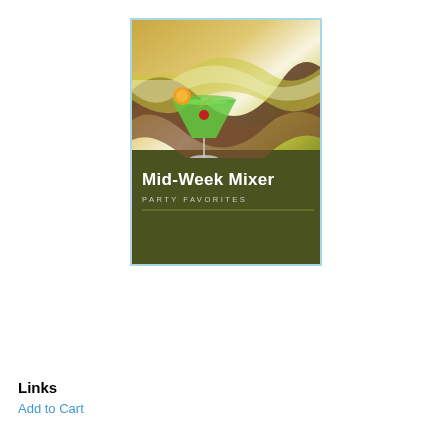[Figure (illustration): Book or album cover for 'Mid-Week Mixer Party Favorites' featuring a green cocktail martini glass with an orange slice and cherry, set against swirling brown and olive-green wave design on a gold and yellow-green background. Dark olive-green lower section with white bold title text 'Mid-Week Mixer' and subtitle 'PARTY FAVORITES' with a horizontal dividing line.]
Links
Add to Cart